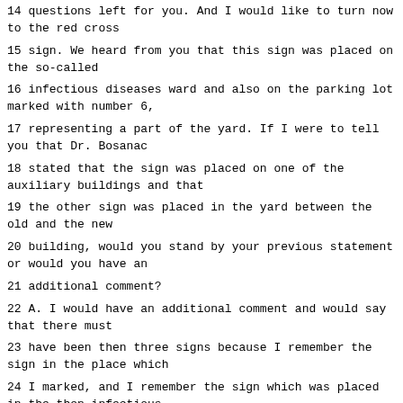14 questions left for you. And I would like to turn now to the red cross
15 sign. We heard from you that this sign was placed on the so-called
16 infectious diseases ward and also on the parking lot marked with number 6,
17 representing a part of the yard. If I were to tell you that Dr. Bosanac
18 stated that the sign was placed on one of the auxiliary buildings and that
19 the other sign was placed in the yard between the old and the new
20 building, would you stand by your previous statement or would you have an
21 additional comment?
22 A. I would have an additional comment and would say that there must
23 have been then three signs because I remember the sign in the place which
24 I marked, and I remember the sign which was placed in the then infectious